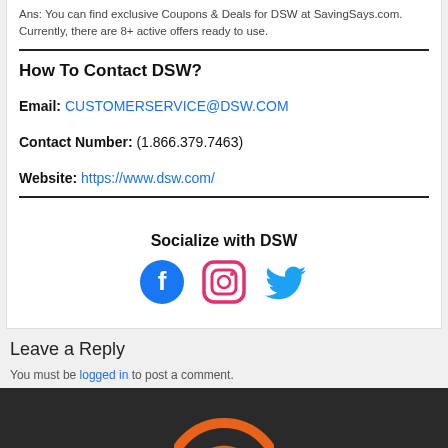Ans: You can find exclusive Coupons & Deals for DSW at SavingSays.com. Currently, there are 8+ active offers ready to use.
How To Contact DSW?
Email: CUSTOMERSERVICE@DSW.COM
Contact Number: (1.866.379.7463)
Website: https://www.dsw.com/
Socialize with DSW
[Figure (infographic): Social media icons: Facebook (blue circle), Instagram (pink/purple outlined square), Twitter (blue bird)]
Leave a Reply
You must be logged in to post a comment.
[Figure (logo): Orange circular logo on dark background, partially visible at bottom of page]